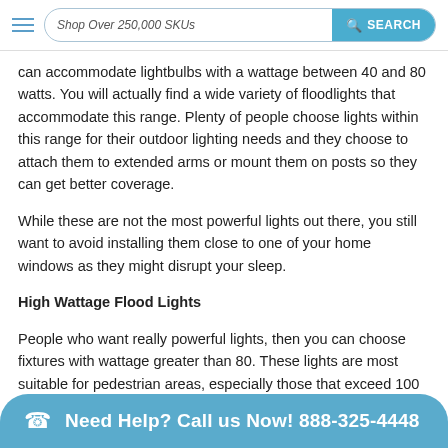Shop Over 250,000 SKUs   SEARCH
can accommodate lightbulbs with a wattage between 40 and 80 watts. You will actually find a wide variety of floodlights that accommodate this range. Plenty of people choose lights within this range for their outdoor lighting needs and they choose to attach them to extended arms or mount them on posts so they can get better coverage.
While these are not the most powerful lights out there, you still want to avoid installing them close to one of your home windows as they might disrupt your sleep.
High Wattage Flood Lights
People who want really powerful lights, then you can choose fixtures with wattage greater than 80. These lights are most suitable for pedestrian areas, especially those that exceed 100 watts. In fact, the most common situations where you'll enco... next to p...
Need Help? Call us Now! 888-325-4448